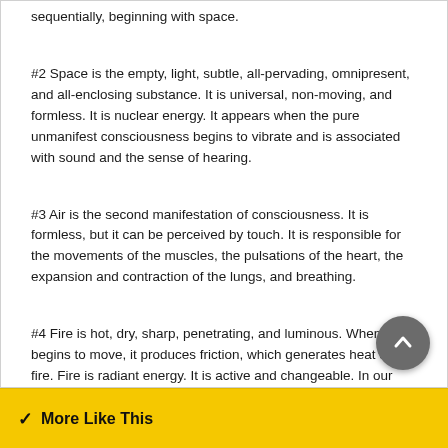sequentially, beginning with space.
#2 Space is the empty, light, subtle, all-pervading, omnipresent, and all-enclosing substance. It is universal, non-moving, and formless. It is nuclear energy. It appears when the pure unmanifest consciousness begins to vibrate and is associated with sound and the sense of hearing.
#3 Air is the second manifestation of consciousness. It is formless, but it can be perceived by touch. It is responsible for the movements of the muscles, the pulsations of the heart, the expansion and contraction of the lungs, and breathing.
#4 Fire is hot, dry, sharp, penetrating, and luminous. When air begins to move, it produces friction, which generates heat or fire. Fire is radiant energy. It is active and changeable. In our solar system, the su...the source of fire and light.
More Like This